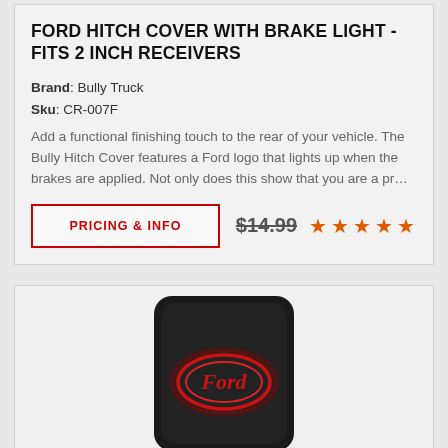FORD HITCH COVER WITH BRAKE LIGHT - FITS 2 INCH RECEIVERS
Brand: Bully Truck
Sku: CR-007F
Add a functional finishing touch to the rear of your vehicle. The Bully Hitch Cover features a Ford logo that lights up when the brakes are applied. Not only does this show that you are a pr…
PRICING & INFO
$14.99
[Figure (photo): Black Ford hitch cover with illuminated red Ford oval logo, shown glowing against dark background]